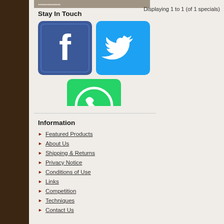[Figure (screenshot): Partially visible brown/tan banner image at top of left sidebar]
Displaying 1 to 1 (of 1 specials)
Stay In Touch
[Figure (illustration): Facebook, Twitter, and WhatsApp social media icons]
Information
Featured Products
About Us
Shipping & Returns
Privacy Notice
Conditions of Use
Links
Competition
Techniques
Contact Us